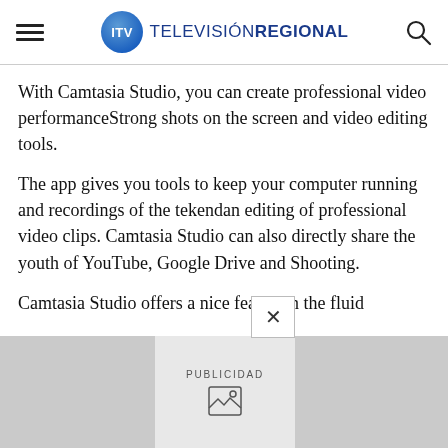ITV TELEVISIÓN REGIONAL
With Camtasia Studio, you can create professional video performanceStrong shots on the screen and video editing tools.
The app gives you tools to keep your computer running and recordings of the tekendan editing of professional video clips. Camtasia Studio can also directly share the youth of YouTube, Google Drive and Shooting.
Camtasia Studio offers a nice featureIn the fluid
[Figure (other): Advertisement banner with PUBLICIDAD label and image placeholder icon]